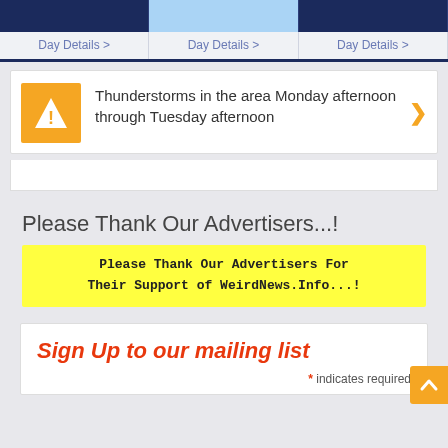[Figure (screenshot): Calendar day details bar with three columns, middle column highlighted in light blue, each showing 'Day Details >']
Thunderstorms in the area Monday afternoon through Tuesday afternoon
Please Thank Our Advertisers...!
[Figure (screenshot): Yellow banner reading: Please Thank Our Advertisers For Their Support of WeirdNews.Info...!]
Sign Up to our mailing list
* indicates required